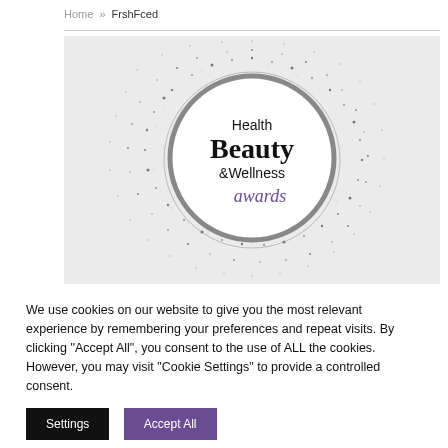Home » FrshFced
[Figure (logo): Health Beauty & Wellness awards logo — circular design with glittery particle burst surrounding a gray-rimmed white circle containing the text 'Health Beauty & Wellness awards' in mixed serif fonts with 'awards' in purple italic script]
We use cookies on our website to give you the most relevant experience by remembering your preferences and repeat visits. By clicking "Accept All", you consent to the use of ALL the cookies. However, you may visit "Cookie Settings" to provide a controlled consent.
Settings  Accept All